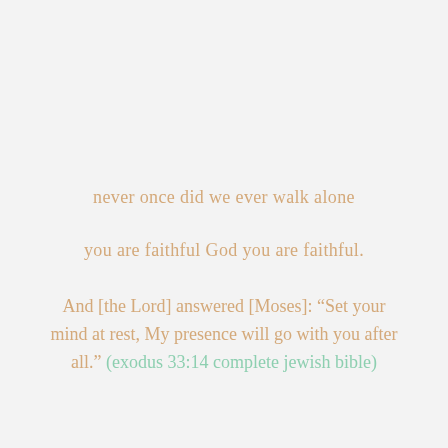never once did we ever walk alone
you are faithful God you are faithful.
And [the Lord] answered [Moses]: “Set your mind at rest, My presence will go with you after all.” (exodus 33:14 complete jewish bible)